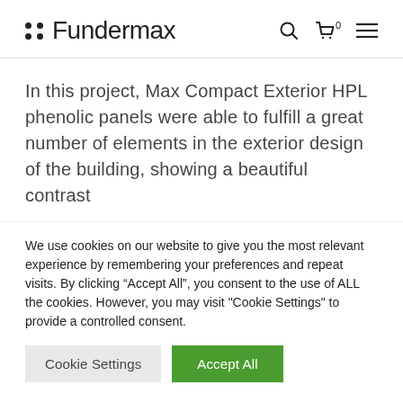::Fundermax
In this project, Max Compact Exterior HPL phenolic panels were able to fulfill a great number of elements in the exterior design of the building, showing a beautiful contrast
We use cookies on our website to give you the most relevant experience by remembering your preferences and repeat visits. By clicking “Accept All”, you consent to the use of ALL the cookies. However, you may visit "Cookie Settings" to provide a controlled consent.
Cookie Settings | Accept All